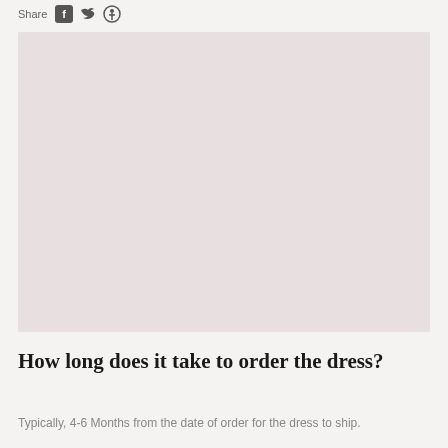Share
[Figure (photo): Large blush/mauve colored rectangular image placeholder area for a dress photo]
How long does it take to order the dress?
Typically, 4-6 Months from the date of order for the dress to ship.